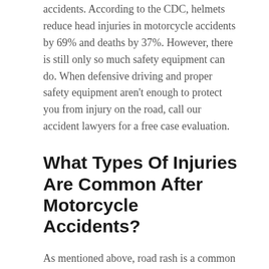accidents. According to the CDC, helmets reduce head injuries in motorcycle accidents by 69% and deaths by 37%. However, there is still only so much safety equipment can do. When defensive driving and proper safety equipment aren't enough to protect you from injury on the road, call our accident lawyers for a free case evaluation.
What Types Of Injuries Are Common After Motorcycle Accidents?
As mentioned above, road rash is a common motorcycle accident injury. If road rash isn't treated promptly and properly, it could also result in serious infections. There are several types of other injuries that could occur due to a motorcycle accident. Motorcycle riders may be more susceptible to spinal injuries in a crash. These injuries